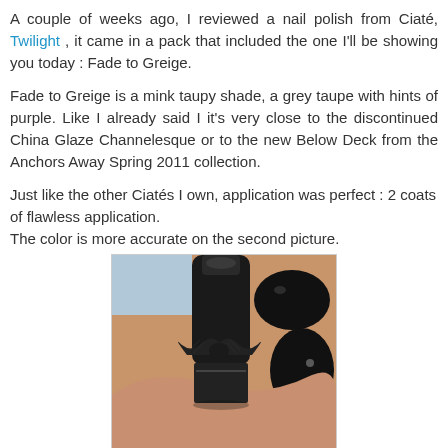A couple of weeks ago, I reviewed a nail polish from Ciaté, Twilight , it came in a pack that included the one I'll be showing you today : Fade to Greige.
Fade to Greige is a mink taupy shade, a grey taupe with hints of purple. Like I already said I it's very close to the discontinued China Glaze Channelesque or to the new Below Deck from the Anchors Away Spring 2011 collection.
Just like the other Ciatés I own, application was perfect : 2 coats of flawless application.
The color is more accurate on the second picture.
[Figure (photo): Close-up photo of fingers with nail polish applied — grey-taupe/greige base with black heart pattern on one nail, black nail polish on other nails, and a black nail polish bottle with black ribbon bow in foreground.]